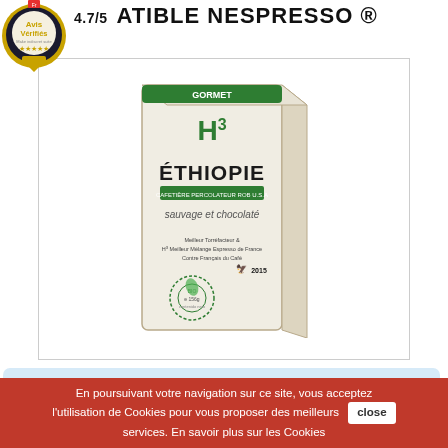[Figure (logo): Avis Vérifiés badge with 4.7/5 rating and stars, circular gold and dark design]
4.7/5  ATIBLE NESPRESSO ®
[Figure (photo): Product photo of H3 Ethiopie coffee capsules box, cream colored with green accent, labeled 'sauvage et chocolaté', with organic certification seal]
By buying this product you can collect up to 78 loyalty points. Your cart will total 78 points that can be converted into a
En poursuivant votre navigation sur ce site, vous acceptez l'utilisation de Cookies pour vous proposer des meilleurs services. En savoir plus sur les Cookies